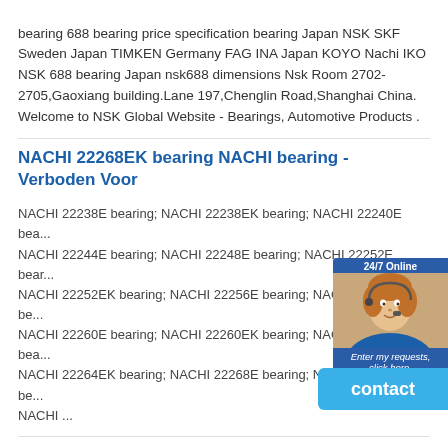bearing 688 bearing price specification bearing Japan NSK SKF Sweden Japan TIMKEN Germany FAG INA Japan KOYO Nachi IKO NSK 688 bearing Japan nsk688 dimensions Nsk Room 2702-2705,Gaoxiang building.Lane 197,Chenglin Road,Shanghai China. Welcome to NSK Global Website - Bearings, Automotive Products .
NACHI 22268EK bearing NACHI bearing - Verboden Voor
NACHI 22238E bearing; NACHI 22238EK bearing; NACHI 22240E bea... NACHI 22244E bearing; NACHI 22248E bearing; NACHI 22252E bear... NACHI 22252EK bearing; NACHI 22256E bearing; NACHI 22256EK be... NACHI 22260E bearing; NACHI 22260EK bearing; NACHI 22264E bea... NACHI 22264EK bearing; NACHI 22268E bearing; NACHI 22268EK be... NACHI ...
NACHI 22268EK bearing 23260EKbearing NACHI 23260EK - Heller
24168EK30 Nachi 22268EK Nachi 24160EK30 Nachi 22260EK Nachi 23260EK Nachi 22360EK Nachi 23964EK Nachi 23064EK Nachi 24064EK30 Nachi ... UPS,TNT,FEDEX,EMS,DHL,etc.They guarantee to meet your needs in terms of time and money,even if you need your 23260EK bearing tomorrow morning (aka overnight or next day air) on your desk, 2, 3 days or more.N...
NACHI 22268EK bearing Shaft diameter 340mm Bearing,Inner